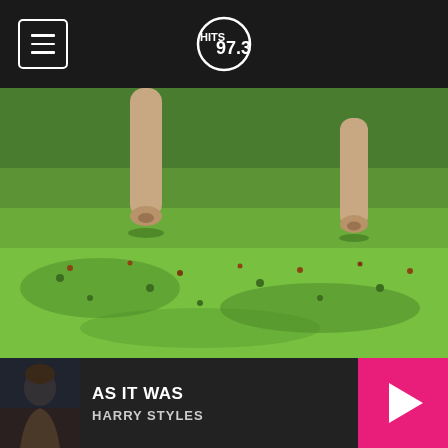HITS 97.3
[Figure (photo): Dog paws and legs running through green grass and clover, close-up ground-level view]
These are the Top 13 Healthiest Dog breeds
Dogs.Recetasget.com
[Figure (illustration): Animated illustration of a man with dark hair lying down, looking worried, with a red lightning bolt symbol visible against a dark night sky background with stars and a window]
AS IT WAS — HARRY STYLES